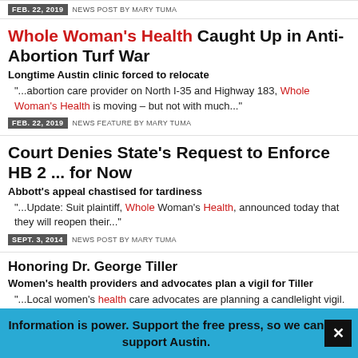FEB. 22, 2019  NEWS POST BY MARY TUMA
Whole Woman's Health Caught Up in Anti-Abortion Turf War
Longtime Austin clinic forced to relocate
"...abortion care provider on North I-35 and Highway 183, Whole Woman's Health is moving – but not with much..."
FEB. 22, 2019  NEWS FEATURE BY MARY TUMA
Court Denies State's Request to Enforce HB 2 ... for Now
Abbott's appeal chastised for tardiness
"...Update: Suit plaintiff, Whole Woman's Health, announced today that they will reopen their..."
SEPT. 3, 2014  NEWS POST BY MARY TUMA
Honoring Dr. George Tiller
Women's health providers and advocates plan a vigil for Tiller
"...Local women's health care advocates are planning a candlelight vigil. The only night to..."
Information is power. Support the free press, so we can support Austin.